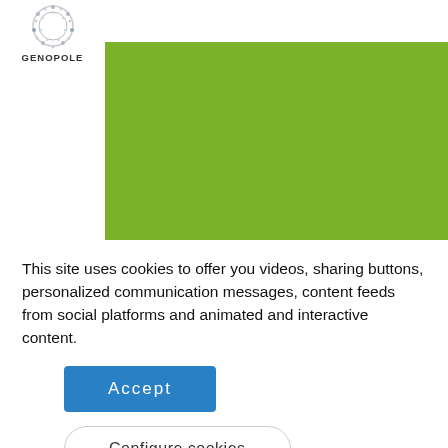GENOPOLE
Green factories for specialty ingredient production in plant cells. Synthetic biology, enzymes and proteins production for organelles.
This site uses cookies to offer you videos, sharing buttons, personalized communication messages, content feeds from social platforms and animated and interactive content.
Accept
Configure cookies